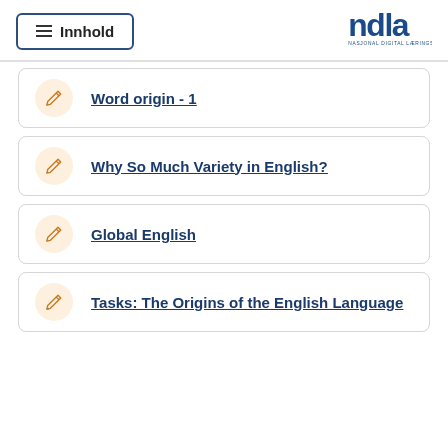≡ Innhold | NDLA NASJONAL DIGITAL LÆRINGSARENA
Word origin - 1
Why So Much Variety in English?
Global English
Tasks: The Origins of the English Language